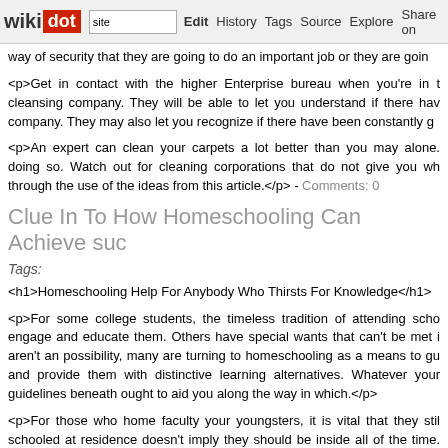wikidot | site | Edit | History | Tags | Source | Explore | Share on [Twitter]
way of security that they are going to do an important job or they are goin
<p>Get in contact with the higher Enterprise bureau when you're in t cleansing company. They will be able to let you understand if there hav company. They may also let you recognize if there have been constantly g
<p>An expert can clean your carpets a lot better than you may alone. doing so. Watch out for cleaning corporations that do not give you wh through the use of the ideas from this article.</p> - Comments: 0
Clue In To How Homeschooling Can Achieve suc
Tags:
<h1>Homeschooling Help For Anybody Who Thirsts For Knowledge</h1>
<p>For some college students, the timeless tradition of attending scho engage and educate them. Others have special wants that can't be met i aren't an possibility, many are turning to homeschooling as a means to gu and provide them with distinctive learning alternatives. Whatever your guidelines beneath ought to aid you along the way in which.</p>
<p>For those who home faculty your youngsters, it is vital that they stil schooled at residence doesn't imply they should be inside all of the time. by day education and work, allow them to go outdoors and play for a little
<p>It's tougher to proceed with homeschooling when there are infants or is take your time day-after-day to handle precisely what needs should be are age acceptable for each youngsters. It is necessary to give evon